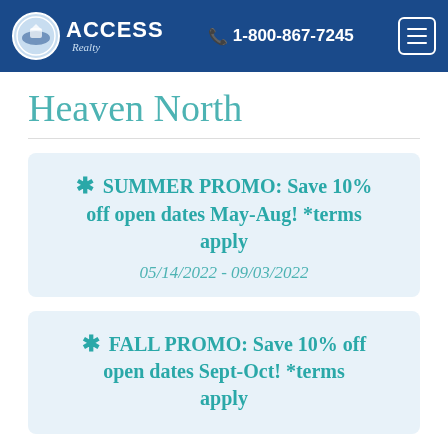ACCESS Realty | 1-800-867-7245
Heaven North
* SUMMER PROMO: Save 10% off open dates May-Aug! *terms apply
05/14/2022 - 09/03/2022
* FALL PROMO: Save 10% off open dates Sept-Oct! *terms apply